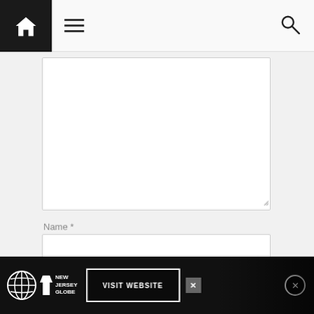[Figure (screenshot): Website navigation bar with home icon (black background), hamburger menu icon, and search icon]
Name *
Email *
Website
[Figure (screenshot): Advertisement banner for New Jersey Globe with 'VISIT WEBSITE' button and close controls]